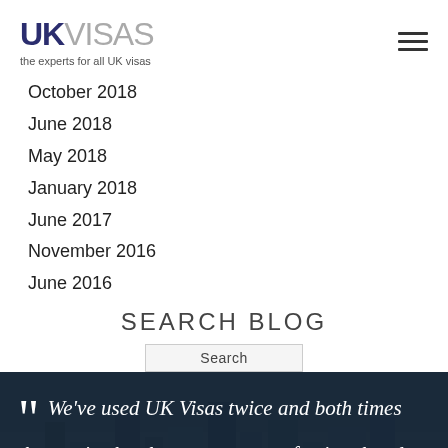UKVISAS — the experts for all UK visas
October 2018
June 2018
May 2018
January 2018
June 2017
November 2016
June 2016
SEARCH BLOG
Search
We've used UK Visas twice and both times the service has been prompt, professional and successful. Would definitely use